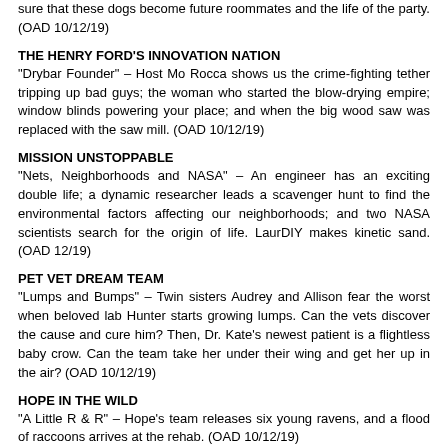sure that these dogs become future roommates and the life of the party. (OAD 10/12/19)
THE HENRY FORD'S INNOVATION NATION
"Drybar Founder" – Host Mo Rocca shows us the crime-fighting tether tripping up bad guys; the woman who started the blow-drying empire; window blinds powering your place; and when the big wood saw was replaced with the saw mill. (OAD 10/12/19)
MISSION UNSTOPPABLE
"Nets, Neighborhoods and NASA" – An engineer has an exciting double life; a dynamic researcher leads a scavenger hunt to find the environmental factors affecting our neighborhoods; and two NASA scientists search for the origin of life. LaurDIY makes kinetic sand. (OAD 12/19)
PET VET DREAM TEAM
"Lumps and Bumps" – Twin sisters Audrey and Allison fear the worst when beloved lab Hunter starts growing lumps. Can the vets discover the cause and cure him? Then, Dr. Kate's newest patient is a flightless baby crow. Can the team take her under their wing and get her up in the air? (OAD 10/12/19)
HOPE IN THE WILD
"A Little R & R" – Hope's team releases six young ravens, and a flood of raccoons arrives at the rehab. (OAD 10/12/19)